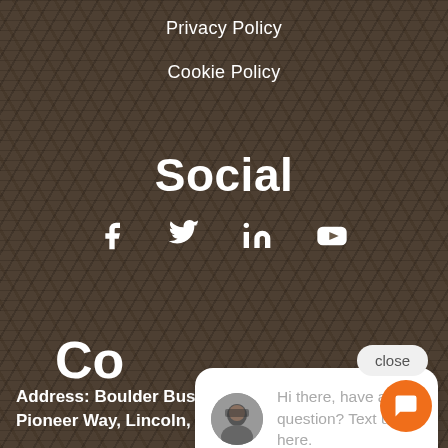Privacy Policy
Cookie Policy
Social
[Figure (infographic): Four social media icons: Facebook (f), Twitter (bird), LinkedIn (in), YouTube (play button), displayed horizontally in white on dark background]
Co
[Figure (screenshot): Chat popup widget: white rounded rectangle with avatar photo of a person and text 'Hi there, have a question? Text us here.' with a close button above and orange chat FAB button below]
Address: Boulder Business Park. Pioneer Way, Lincoln, LN6 0QR